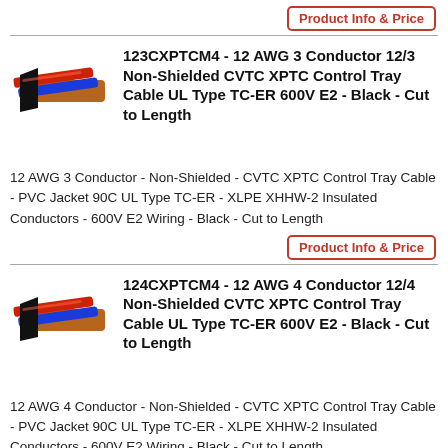[Figure (other): Button: Product Info & Price (red border, red text)]
[Figure (photo): Image of a multi-conductor cable with red, blue and black wires]
123CXPTCM4 - 12 AWG 3 Conductor 12/3 Non-Shielded CVTC XPTC Control Tray Cable UL Type TC-ER 600V E2 - Black - Cut to Length
12 AWG 3 Conductor - Non-Shielded - CVTC XPTC Control Tray Cable - PVC Jacket 90C UL Type TC-ER - XLPE XHHW-2 Insulated Conductors - 600V E2 Wiring - Black - Cut to Length
[Figure (other): Button: Product Info & Price (red border, red text)]
[Figure (photo): Image of a multi-conductor cable with red, blue and black wires]
124CXPTCM4 - 12 AWG 4 Conductor 12/4 Non-Shielded CVTC XPTC Control Tray Cable UL Type TC-ER 600V E2 - Black - Cut to Length
12 AWG 4 Conductor - Non-Shielded - CVTC XPTC Control Tray Cable - PVC Jacket 90C UL Type TC-ER - XLPE XHHW-2 Insulated Conductors - 600V E2 Wiring - Black - Cut to Length